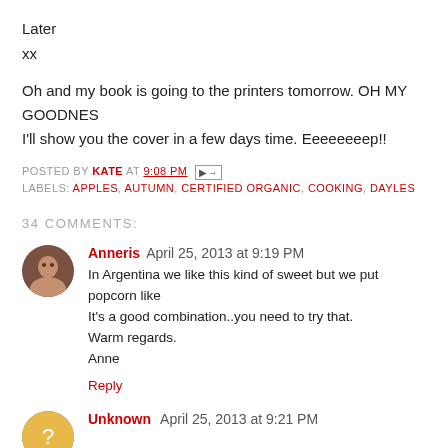Later
xx
Oh and my book is going to the printers tomorrow. OH MY GOODNESS I'll show you the cover in a few days time. Eeeeeeeep!!
POSTED BY KATE AT 9:08 PM [email icon]
LABELS: APPLES, AUTUMN, CERTIFIED ORGANIC, COOKING, DAYLES...
34 COMMENTS:
Anneris April 25, 2013 at 9:19 PM
In Argentina we like this kind of sweet but we put popcorn like...
It's a good combination..you need to try that.
Warm regards.
Anne
Reply
Unknown April 25, 2013 at 9:21 PM